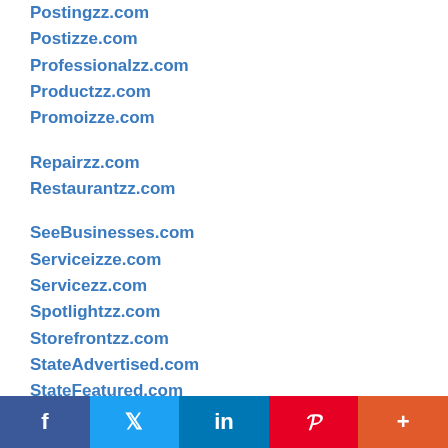Postingzz.com
Postizze.com
Professionalzz.com
Productzz.com
Promoizze.com
Repairzz.com
Restaurantzz.com
SeeBusinesses.com
Serviceizze.com
Servicezz.com
Spotlightzz.com
Storefrontzz.com
StateAdvertised.com
StateFeatured.com
StatePromoted.com
f  t  in  P  +